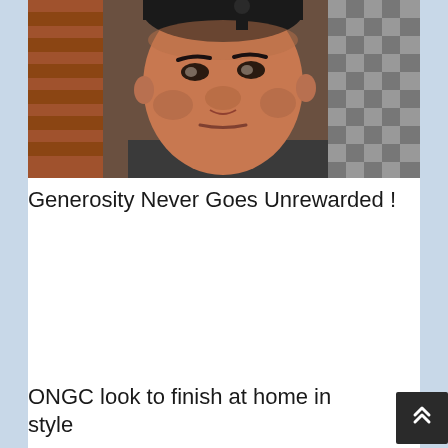[Figure (photo): Close-up photo of a middle-aged South Asian man with a serious expression, against a background with brick and checkered tile patterns]
Generosity Never Goes Unrewarded !
ONGC look to finish at home in style